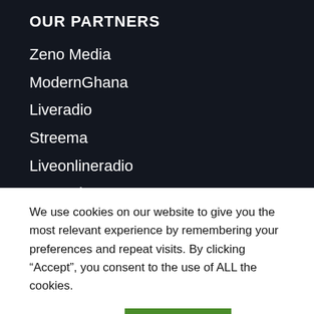OUR PARTNERS
Zeno Media
ModernGhana
Liveradio
Streema
Liveonlineradio
Streamitter
We use cookies on our website to give you the most relevant experience by remembering your preferences and repeat visits. By clicking “Accept”, you consent to the use of ALL the cookies.
Cookie settings  ACCEPT